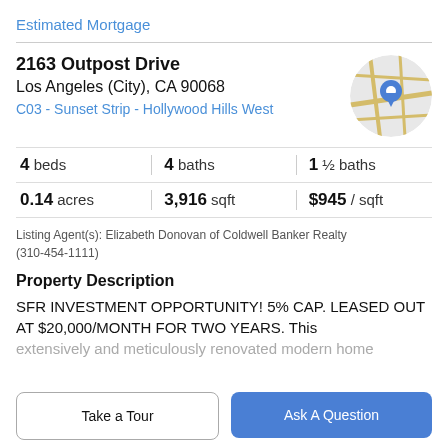Estimated Mortgage
2163 Outpost Drive
Los Angeles (City), CA 90068
C03 - Sunset Strip - Hollywood Hills West
[Figure (map): Circular map thumbnail with a blue location pin marker and street map background]
4 beds  |  4 baths  |  1 ½ baths
0.14 acres  |  3,916 sqft  |  $945 / sqft
Listing Agent(s): Elizabeth Donovan of Coldwell Banker Realty (310-454-1111)
Property Description
SFR INVESTMENT OPPORTUNITY! 5% CAP. LEASED OUT AT $20,000/MONTH FOR TWO YEARS. This
extensively and meticulously renovated modern home
Take a Tour
Ask A Question